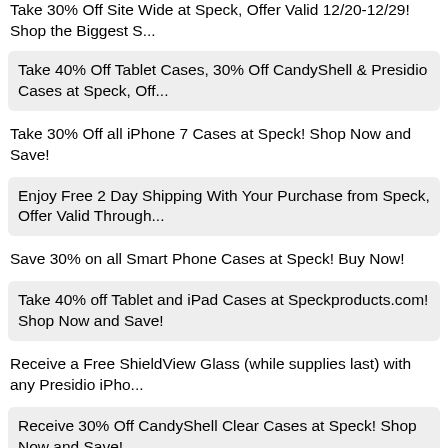Take 30% Off Site Wide at Speck, Offer Valid 12/20-12/29! Shop the Biggest S...
Take 40% Off Tablet Cases, 30% Off CandyShell & Presidio Cases at Speck, Off...
Take 30% Off all iPhone 7 Cases at Speck! Shop Now and Save!
Enjoy Free 2 Day Shipping With Your Purchase from Speck, Offer Valid Through...
Save 30% on all Smart Phone Cases at Speck! Buy Now!
Take 40% off Tablet and iPad Cases at Speckproducts.com! Shop Now and Save!
Receive a Free ShieldView Glass (while supplies last) with any Presidio iPho...
Receive 30% Off CandyShell Clear Cases at Speck! Shop Now and Save!
Take 40% Off Sitewide (exclusions apply) at Speck! Shop Now!
Receive a Free ShieldView Glass (while supplies last)